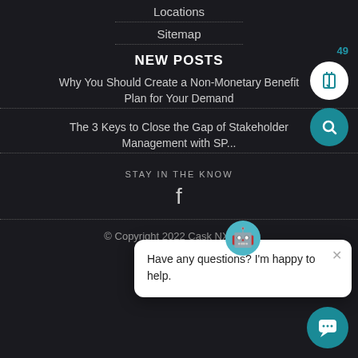Locations
Sitemap
NEW POSTS
Why You Should Create a Non-Monetary Benefit Plan for Your Demand
The 3 Keys to Close the Gap of Stakeholder Management with SP...
STAY IN THE KNOW
[Figure (illustration): Chat popup widget with avatar, close button, and message: Have any questions? I'm happy to help.]
© Copyright 2022 Cask NX, LLC
Privacy Policy